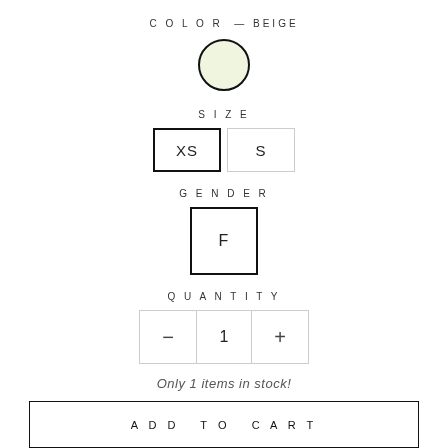COLOR — BEIGE
[Figure (illustration): Beige color swatch circle with dark border]
SIZE
XS  S
GENDER
F
QUANTITY
- 1 +
Only 1 items in stock!
ADD TO CART